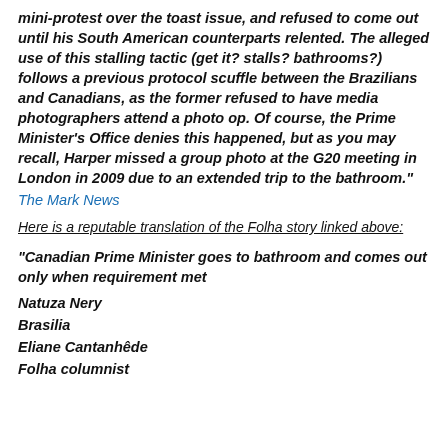mini-protest over the toast issue, and refused to come out until his South American counterparts relented. The alleged use of this stalling tactic (get it? stalls? bathrooms?) follows a previous protocol scuffle between the Brazilians and Canadians, as the former refused to have media photographers attend a photo op. Of course, the Prime Minister's Office denies this happened, but as you may recall, Harper missed a group photo at the G20 meeting in London in 2009 due to an extended trip to the bathroom."
The Mark News
Here is a reputable translation of the Folha story linked above:
"Canadian Prime Minister goes to bathroom and comes out only when requirement met
Natuza Nery
Brasilia
Eliane Cantanhêde
Folha columnist